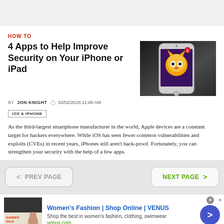HOW TO
4 Apps to Help Improve Security on Your iPhone or iPad
[Figure (photo): Close-up photo of an iPhone displaying a cartoon tiger app on screen, placed on a dark surface]
BY JON KNIGHT  02/02/2018 11:00 AM
IOS & IPHONE
As the third-largest smartphone manufacturer in the world, Apple devices are a constant target for hackers everywhere. While iOS has seen fewer common vulnerabilities and exploits (CVEs) in recent years, iPhones still aren't hack-proof. Fortunately, you can strengthen your security with the help of a few apps.
PREV PAGE
NEXT PAGE
[Figure (photo): Advertisement thumbnail showing a woman, Summer Sale text overlay]
Women's Fashion | Shop Online | VENUS
Shop the best in women's fashion, clothing, swimwear
venus.com